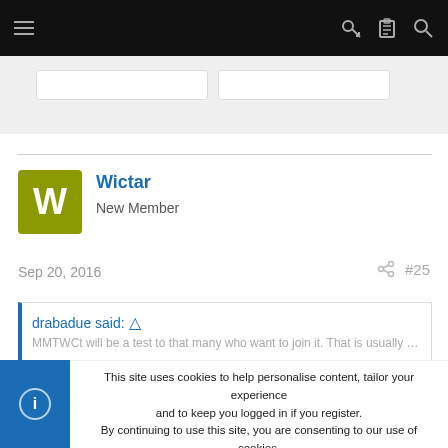Navigation bar with hamburger menu, key icon, clipboard icon, and search icon
[Figure (screenshot): Form input area with two text input boxes on gray background]
Wictar
New Member
Sep 20, 2016
#25
drabadue said: ↑
This site uses cookies to help personalise content, tailor your experience and to keep you logged in if you register.
By continuing to use this site, you are consenting to our use of cookies.
Accept   Learn more...